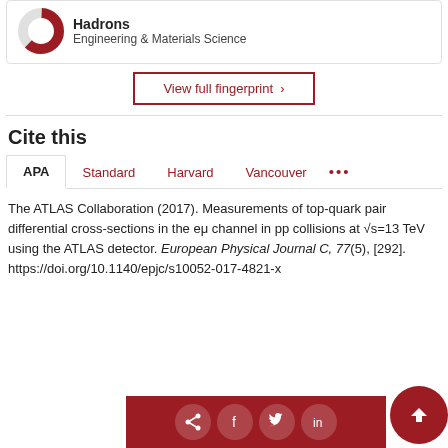[Figure (other): Donut chart icon for Hadrons with label Engineering & Materials Science]
View full fingerprint >
Cite this
APA | Standard | Harvard | Vancouver | ...
The ATLAS Collaboration (2017). Measurements of top-quark pair differential cross-sections in the eμ channel in pp collisions at √s=13 TeV using the ATLAS detector. European Physical Journal C, 77(5), [292]. https://doi.org/10.1140/epjc/s10052-017-4821-x